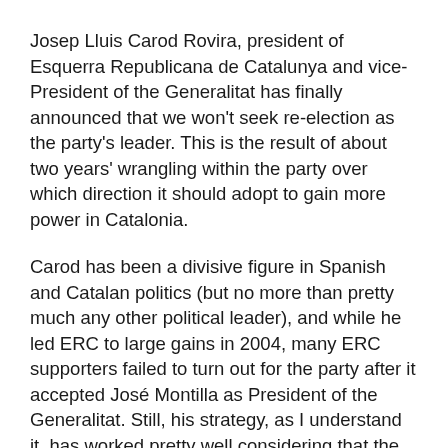Josep Lluis Carod Rovira, president of Esquerra Republicana de Catalunya and vice-President of the Generalitat has finally announced that we won't seek re-election as the party's leader. This is the result of about two years' wrangling within the party over which direction it should adopt to gain more power in Catalonia.
Carod has been a divisive figure in Spanish and Catalan politics (but no more than pretty much any other political leader), and while he led ERC to large gains in 2004, many ERC supporters failed to turn out for the party after it accepted José Montilla as President of the Generalitat. Still, his strategy, as I understand it, has worked pretty well considering that the PSC has definitely radicalised somewhat in a failed effort to snatch Catalanist voters from ERC. Indeed, the drop in support for Esquerra in the recent elections was the result of a terrible election campaign (apparently run by Puigcercós), and large-scale